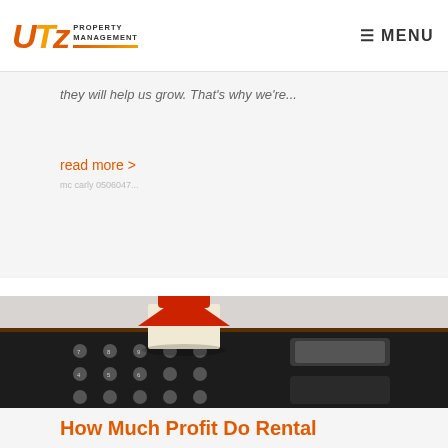UTZ Property Management | MENU
they will help us grow. That's why we're...
read more >
[Figure (photo): A miniature toy house model placed on top of a dark calculator, symbolic of real estate and financial calculations.]
How Much Profit Do Rental